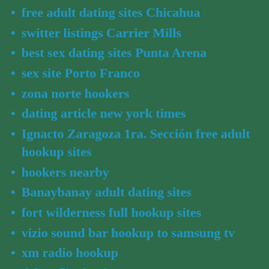free adult dating sites Chicahua
switter listings Carrier Mills
best sex dating sites Punta Arena
sex site Porto Franco
zona norte hookers
dating article new york times
Ignacto Zaragoza 1ra. Sección free adult hookup sites
hookers nearby
Banaybanay adult dating sites
fort wilderness full hookup sites
vizio sound bar hookup to samsung tv
xm radio hookup
delete flirt hookup account
is austin brown and annie leblanc dating